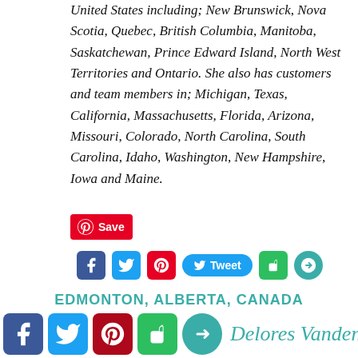United States including; New Brunswick, Nova Scotia, Quebec, British Columbia, Manitoba, Saskatchewan, Prince Edward Island, North West Territories and Ontario. She also has customers and team members in; Michigan, Texas, California, Massachusetts, Florida, Arizona, Missouri, Colorado, North Carolina, South Carolina, Idaho, Washington, New Hampshire, Iowa and Maine.
[Figure (other): Social media sharing buttons: Pinterest Save button (red), and a row of icons for Facebook (blue), Twitter (blue), Pinterest (red), Tweet button (light blue), Evernote (green), and a share icon (teal).]
EDMONTON, ALBERTA, CANADA
[Figure (other): Footer social media icons: Facebook (blue), Twitter (blue), Pinterest (dark red), Evernote (green), share icon (teal). Below is a cursive signature reading Delores VandenBoogaard.]